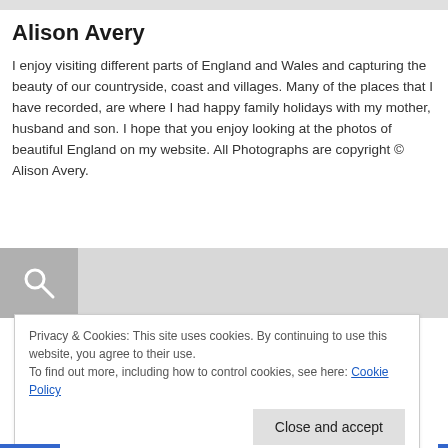Alison Avery
I enjoy visiting different parts of England and Wales and capturing the beauty of our countryside, coast and villages. Many of the places that I have recorded, are where I had happy family holidays with my mother, husband and son. I hope that you enjoy looking at the photos of beautiful England on my website. All Photographs are copyright © Alison Avery.
[Figure (other): Search bar with magnifying glass icon on grey background]
Privacy & Cookies: This site uses cookies. By continuing to use this website, you agree to their use.
To find out more, including how to control cookies, see here: Cookie Policy
Close and accept